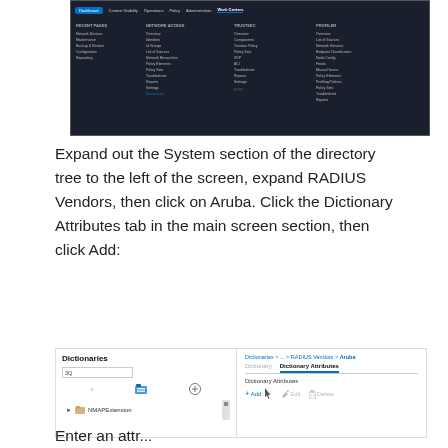[Figure (screenshot): Screenshot of a network management application (Cisco ISE or similar) showing dark-themed navigation bar with Dashboard, Context Visibility, Operations, Policy, Administration, Work Centers menu items, and dropdown menus for Network Access, TrustSec, and Profiler sections.]
Expand out the System section of the directory tree to the left of the screen, expand RADIUS Vendors, then click on Aruba. Click the Dictionary Attributes tab in the main screen section, then click Add:
[Figure (screenshot): Screenshot showing Dictionaries panel on the left with NMAPExtension item, and on the right a breadcrumb navigation 'Dictionaries > ... > RADIUS Vendors > Aruba', with Dictionary and Dictionary Attributes tabs, and Add, Edit, Delete buttons.]
Enter an attribute name of Aruba-Port-Name...